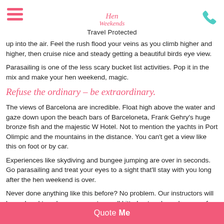Hen Weekends — Travel Protected
up into the air. Feel the rush flood your veins as you climb higher and higher, then cruise nice and steady getting a beautiful birds eye view.
Parasailing is one of the less scary bucket list activities. Pop it in the mix and make your hen weekend, magic.
Refuse the ordinary – be extraordinary.
The views of Barcelona are incredible. Float high above the water and gaze down upon the beach bars of Barceloneta, Frank Gehry's huge bronze fish and the majestic W Hotel. Not to mention the yachts in Port Olimpic and the mountains in the distance. You can't get a view like this on foot or by car.
Experiences like skydiving and bungee jumping are over in seconds. Go parasailing and treat your eyes to a sight that'll stay with you long after the hen weekend is over.
Never done anything like this before? No problem. Our instructors will be on hand to calm nerves, get you all kitted out and psych you up for the big moment. It might be a bit scary, but work up the courage and you'll crush it!
Quote Me